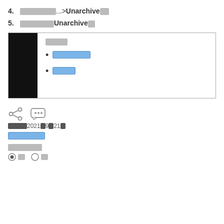4. [redacted]...>Unarchive[redacted]
5. [redacted]Unarchive[redacted]
| [redacted box with bullet items: redacted-blue link 1, redacted-blue link 2] |
[Figure (infographic): Share icon and comment/chat icon]
[redacted]2021[redacted]9[redacted]21[redacted]
[redacted blue link]
[redacted]
[radio buttons row]